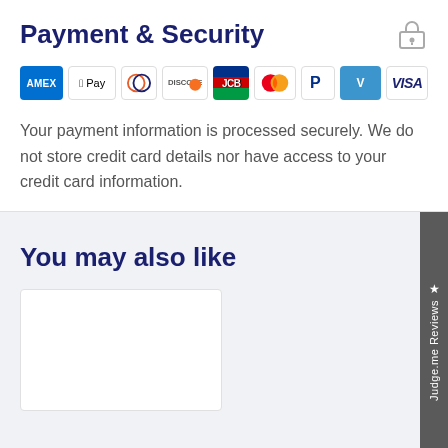Payment & Security
[Figure (infographic): Row of payment method icons: American Express (AMEX), Apple Pay, Diners Club, Discover, JCB, Mastercard, PayPal, Venmo, Visa]
Your payment information is processed securely. We do not store credit card details nor have access to your credit card information.
You may also like